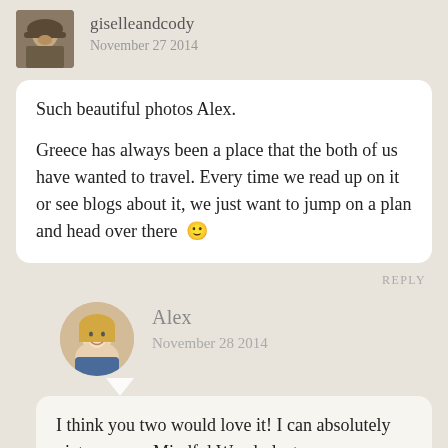[Figure (photo): Small avatar photo of user giselleandcody - person with hat and beard]
giselleandcody
November 27 2014
Such beautiful photos Alex.

Greece has always been a place that the both of us have wanted to travel. Every time we read up on it or see blogs about it, we just want to jump on a plan and head over there 🙂
REPLY
[Figure (photo): Round avatar photo of user Alex - blonde woman smiling]
Alex
November 28 2014
I think you two would love it! I can absolutely picture some Mindful Wanderlusts